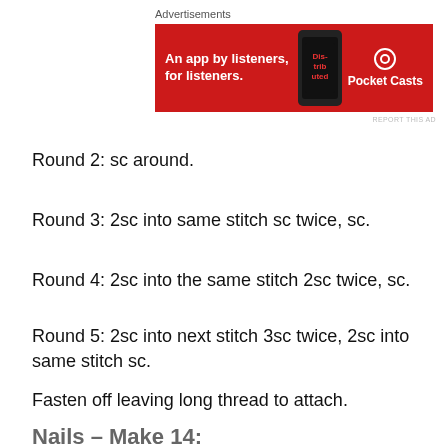[Figure (other): Advertisement banner for Pocket Casts app. Red background with white bold text 'An app by listeners, for listeners.' and Pocket Casts logo on right.]
Round 2: sc around.
Round 3: 2sc into same stitch sc twice, sc.
Round 4: 2sc into the same stitch 2sc twice, sc.
Round 5: 2sc into next stitch 3sc twice, 2sc into same stitch sc.
Fasten off leaving long thread to attach.
Nails – Make 14: